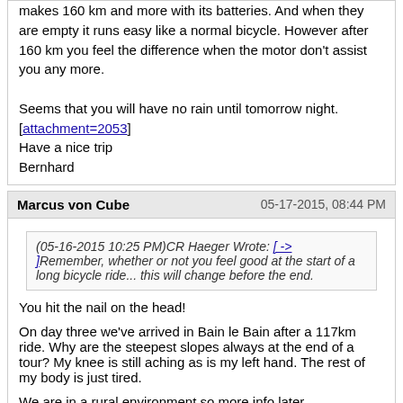makes 160 km and more with its batteries. And when they are empty it runs easy like a normal bicycle. However after 160 km you feel the difference when the motor don't assist you any more.

Seems that you will have no rain until tomorrow night.
[attachment=2053]
Have a nice trip
Bernhard
Marcus von Cube   05-17-2015, 08:44 PM
(05-16-2015 10:25 PM)CR Haeger Wrote: [->]Remember, whether or not you feel good at the start of a long bicycle ride... this will change before the end.
You hit the nail on the head!

On day three we've arrived in Bain le Bain after a 117km ride. Why are the steepest slopes always at the end of a tour? My knee is still aching as is my left hand. The rest of my body is just tired.

We are in a rural environment so more info later...
Tugdual   05-17-2015, 09:24 PM
(05-17-2015 08:44 PM)Marcus von Cube Wrote: [->]